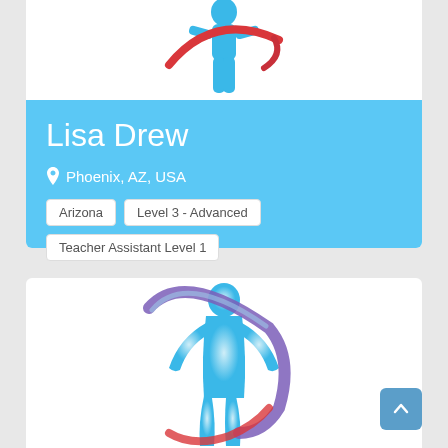[Figure (logo): Partial blue human figure with red swoosh arc — top portion of a wellness or fitness logo]
Lisa Drew
Phoenix, AZ, USA
Arizona
Level 3 - Advanced
Teacher Assistant Level 1
[Figure (logo): Blue human silhouette figure with purple/red swoosh arc around body — full fitness or wellness organization logo]